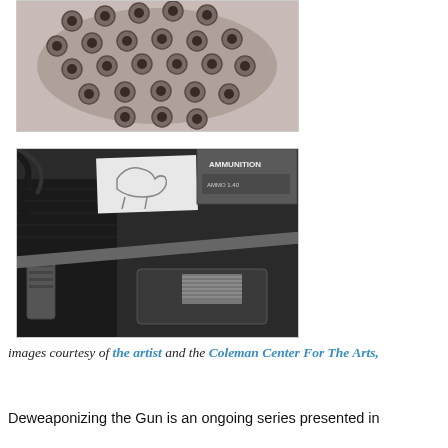[Figure (photo): Close-up photograph of a metal plate with multiple circular holes/indentations in a scattered pattern, showing bullet holes or similar perforations in a metallic surface against a light background.]
[Figure (photo): Black and white photograph of gun cleaning equipment and firearm components in a carrying case, including a rifle barrel/cleaning rod, a magazine, foam padding, and a cleaning brush, with a box labeled 'AMMUNITION' and a paper with a horse sketch visible.]
images courtesy of the artist and the Coleman Center For The Arts,
Deweaponizing the Gun is an ongoing series presented in